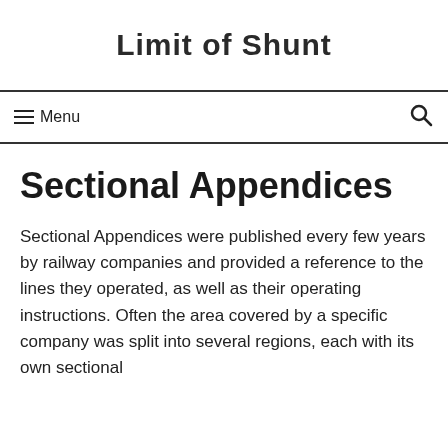Limit of Shunt
☰ Menu
Sectional Appendices
Sectional Appendices were published every few years by railway companies and provided a reference to the lines they operated, as well as their operating instructions. Often the area covered by a specific company was split into several regions, each with its own sectional